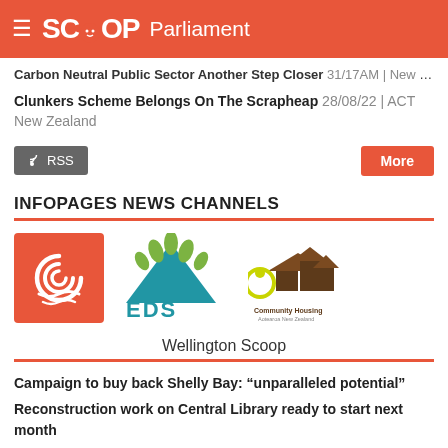SCOOP Parliament
Carbon Neutral Public Sector Another Step Closer 31/17AM | New Zealand Government
Clunkers Scheme Belongs On The Scrapheap 28/08/22 | ACT New Zealand
[Figure (logo): RSS button and More button]
INFOPAGES NEWS CHANNELS
[Figure (logo): Three logos: a red spiral logo, EDS Environmental Defence Society logo, and Community Housing Aotearoa logo]
Wellington Scoop
Campaign to buy back Shelly Bay: "unparalleled potential"
Reconstruction work on Central Library ready to start next month